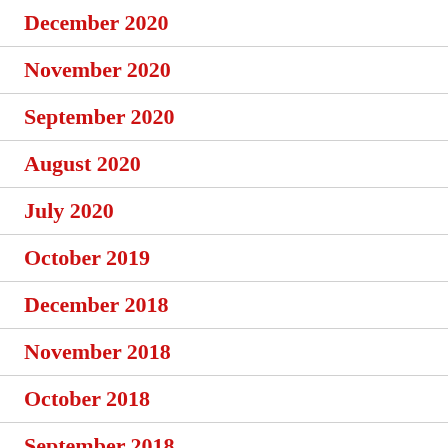December 2020
November 2020
September 2020
August 2020
July 2020
October 2019
December 2018
November 2018
October 2018
September 2018
July 2017